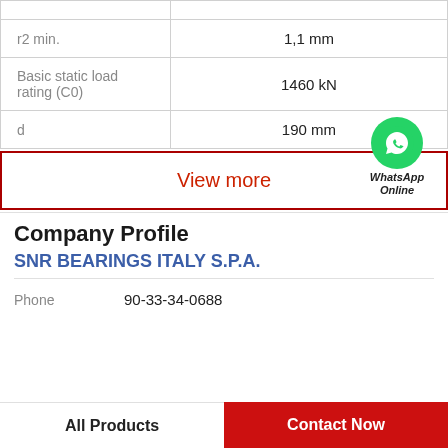| Parameter | Value |
| --- | --- |
|  |  |
| r2 min. | 1,1 mm |
| Basic static load rating (C0) | 1460 kN |
| d | 190 mm |
View more
[Figure (logo): WhatsApp Online green circle logo with phone icon and text 'WhatsApp Online']
Company Profile
SNR BEARINGS ITALY S.P.A.
Phone  90-33-34-0688
All Products
Contact Now